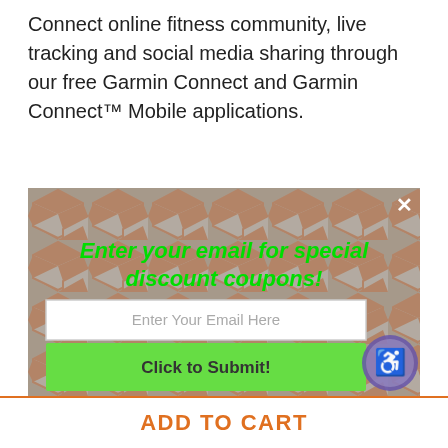Connect online fitness community, live tracking and social media sharing through our free Garmin Connect and Garmin Connect™ Mobile applications.
[Figure (screenshot): Modal popup overlay with hexagonal patterned background (grey and rust/red hex tiles). Contains a promotional email signup form with green italic bold heading 'Enter your email for special discount coupons!', a white input field labeled 'Enter Your Email Here', and a green submit button labeled 'Click to Submit!'. A white X close button appears in the upper right corner. An accessibility icon (purple circle with person symbol) appears on the right side.]
Custom Apps and Watch Faces
You can customize your fēnix 5S watch with downloads from our Connect IQ store. Change watch face, add data fields or get apps and widgets for information at a glance.
Garmin is continually working with top companies and developers to build partnerships that add even more value to your fēnix multisport watch. Names
ADD TO CART